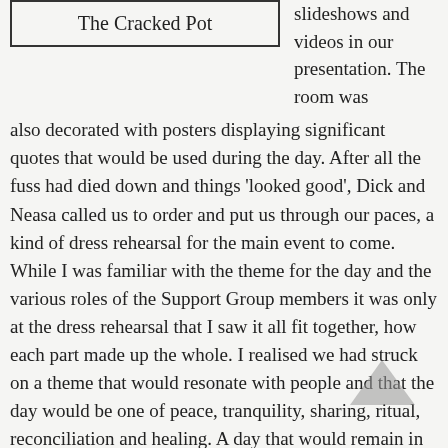| The Cracked Pot |
slideshows and videos in our presentation. The room was also decorated with posters displaying significant quotes that would be used during the day. After all the fuss had died down and things 'looked good', Dick and Neasa called us to order and put us through our paces, a kind of dress rehearsal for the main event to come. While I was familiar with the theme for the day and the various roles of the Support Group members it was only at the dress rehearsal that I saw it all fit together, how each part made up the whole. I realised we had struck on a theme that would resonate with people and that the day would be one of peace, tranquility, sharing, ritual, reconciliation and healing. A day that would remain in the minds and hearts of the gathering